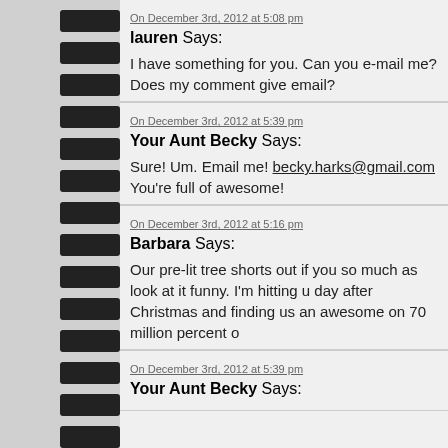On December 3rd, 2012 at 5:08 pm
lauren Says:
I have something for you. Can you e-mail me? Does my comment give email?
On December 3rd, 2012 at 5:39 pm
Your Aunt Becky Says:
Sure! Um. Email me! becky.harks@gmail.com You're full of awesome!
On December 3rd, 2012 at 5:16 pm
Barbara Says:
Our pre-lit tree shorts out if you so much as look at it funny. I'm hitting u day after Christmas and finding us an awesome on 70 million percent o
On December 3rd, 2012 at 5:39 pm
Your Aunt Becky Says: